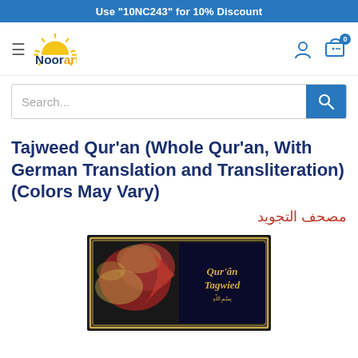Use "10NC243" for 10% Discount
[Figure (logo): Noorart logo with sun rays icon and tagline 'your partner in education']
Search...
Tajweed Qur'an (Whole Qur'an, With German Translation and Transliteration) (Colors May Vary)
مصحف التجويد
[Figure (photo): Book cover of Qur'an Tagwied with dark decorative cover featuring red and gold Arabic calligraphy patterns and the text 'Qur'an Tagwied']